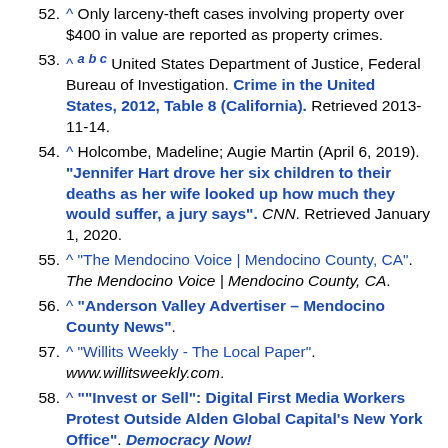52. ^ Only larceny-theft cases involving property over $400 in value are reported as property crimes.
53. ^ a b c United States Department of Justice, Federal Bureau of Investigation. Crime in the United States, 2012, Table 8 (California). Retrieved 2013-11-14.
54. ^ Holcombe, Madeline; Augie Martin (April 6, 2019). "Jennifer Hart drove her six children to their deaths as her wife looked up how much they would suffer, a jury says". CNN. Retrieved January 1, 2020.
55. ^ "The Mendocino Voice | Mendocino County, CA". The Mendocino Voice | Mendocino County, CA.
56. ^ "Anderson Valley Advertiser – Mendocino County News".
57. ^ "Willits Weekly - The Local Paper". www.willitsweekly.com.
58. ^ ""Invest or Sell": Digital First Media Workers Protest Outside Alden Global Capital's New York Office". Democracy Now!.
59. ^ "2020 CENSUS - SCHOOL DISTRICT